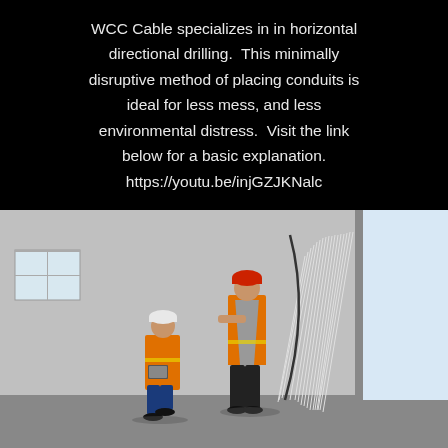WCC Cable specializes in in horizontal directional drilling.  This minimally disruptive method of placing conduits is ideal for less mess, and less environmental distress.  Visit the link below for a basic explanation. https://youtu.be/injGZJKNalc
[Figure (photo): Two construction workers in orange safety vests and hard hats examining a large bundle of white cables/conduits hanging from a wall in an industrial building. One worker is crouching taking notes, the other is standing.]